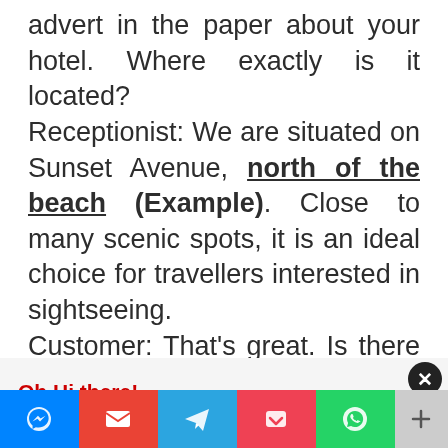advert in the paper about your hotel. Where exactly is it located? Receptionist: We are situated on Sunset Avenue, north of the beach (Example). Close to many scenic spots, it is an ideal choice for travellers interested in sightseeing. Customer: That's great. Is there a vacant
Oh Hi there!
It's nice to meet you.

Sign up to receive awesome content in your inbox, every week.
[Figure (infographic): Social sharing bar with icons for Messenger, Gmail, Telegram, Pocket, WhatsApp, and a plus/more button]